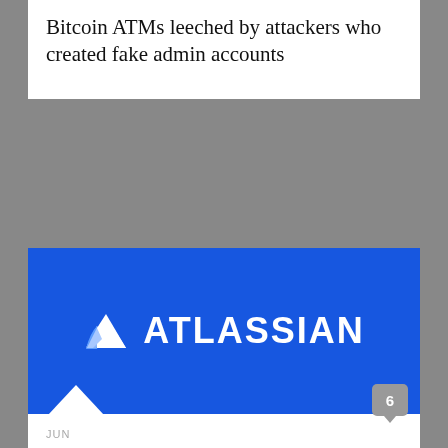Bitcoin ATMs leeched by attackers who created fake admin accounts
[Figure (logo): Atlassian logo — white triangle icon and white bold ATLASSIAN text on a blue background]
JUN
03 BY PAUL DUCKLIN
Atlassian announces 0-day hole in Confluence Server – update now!